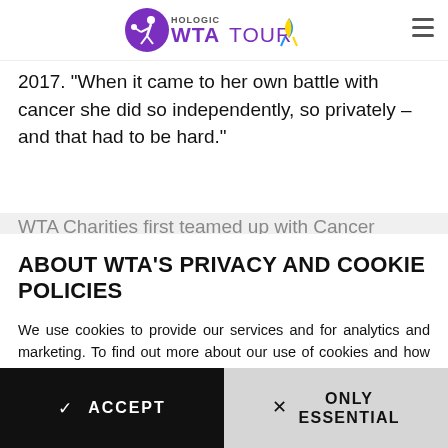[Figure (logo): Hologic WTA Tour logo with purple tennis player icon and yellow-blue ribbon]
2017. "When it came to her own battle with cancer she did so independently, so privately – and that had to be hard."
WTA Charities first teamed up with Cancer Research
ABOUT WTA'S PRIVACY AND COOKIE POLICIES
We use cookies to provide our services and for analytics and marketing. To find out more about our use of cookies and how you can disable them, please see our Privacy Policy. By continuing to browse our website, you agree to our use of cookies. Click here to find out more info.
ACCEPT
ONLY ESSENTIAL